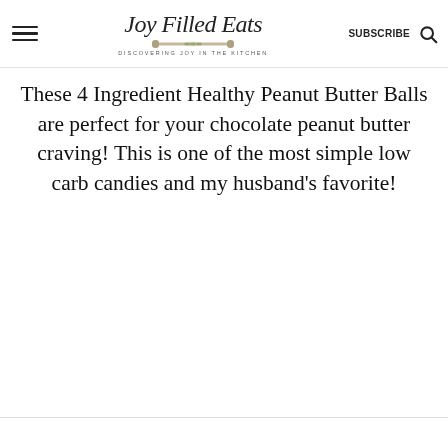Joy Filled Eats — DISCOVERING JOY IN THE KITCHEN | SUBSCRIBE
These 4 Ingredient Healthy Peanut Butter Balls are perfect for your chocolate peanut butter craving! This is one of the most simple low carb candies and my husband's favorite!